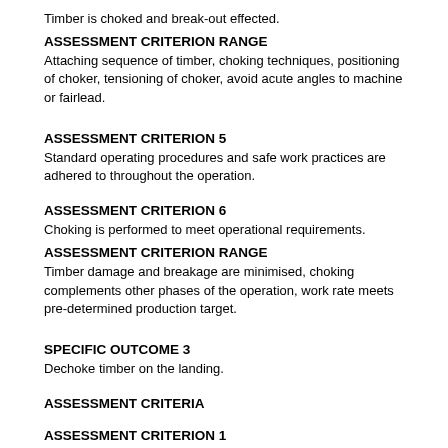Timber is choked and break-out effected.
ASSESSMENT CRITERION RANGE
Attaching sequence of timber, choking techniques, positioning of choker, tensioning of choker, avoid acute angles to machine or fairlead.
ASSESSMENT CRITERION 5
Standard operating procedures and safe work practices are adhered to throughout the operation.
ASSESSMENT CRITERION 6
Choking is performed to meet operational requirements.
ASSESSMENT CRITERION RANGE
Timber damage and breakage are minimised, choking complements other phases of the operation, work rate meets pre-determined production target.
SPECIFIC OUTCOME 3
Dechoke timber on the landing.
ASSESSMENT CRITERIA
ASSESSMENT CRITERION 1
Communication with the skidding machine operator ensures safe and effective operation during dechoking on the landing.